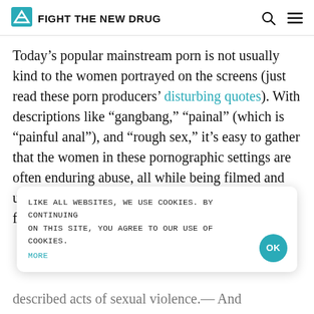FIGHT THE NEW DRUG
Today’s popular mainstream porn is not usually kind to the women portrayed on the screens (just read these porn producers’ disturbing quotes). With descriptions like “gangbang,” “painal” (which is “painful anal”), and “rough sex,” it’s easy to gather that the women in these pornographic settings are often enduring abuse, all while being filmed and uploaded to porn sites for the world to watch for free.
LIKE ALL WEBSITES, WE USE COOKIES. BY CONTINUING ON THIS SITE, YOU AGREE TO OUR USE OF COOKIES. MORE
described acts of sexual violence.— And